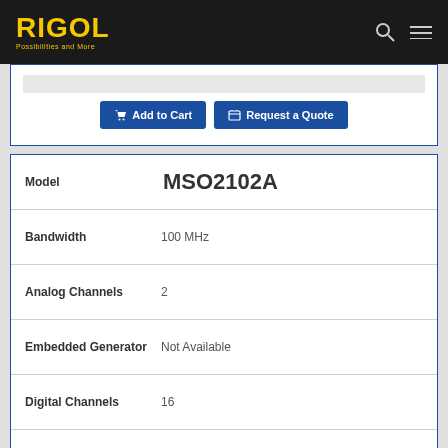RIGOL — Possibilities and More
Add to Cart | Request a Quote
| Spec | Value |
| --- | --- |
| Model | MSO2102A |
| Bandwidth | 100 MHz |
| Analog Channels | 2 |
| Embedded Generator | Not Available |
| Digital Channels | 16 |
| Price (CAD) | $1,247 |
Add to Cart | Request a Quote